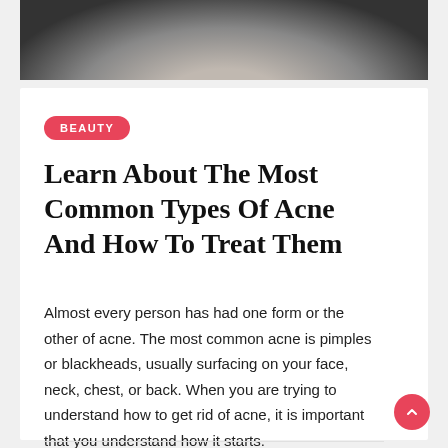[Figure (photo): Close-up photo of a person's face/neck with a face mask, dark background, partial view from chin up]
BEAUTY
Learn About The Most Common Types Of Acne And How To Treat Them
Almost every person has had one form or the other of acne. The most common acne is pimples or blackheads, usually surfacing on your face, neck, chest, or back. When you are trying to understand how to get rid of acne, it is important that you understand how it starts.